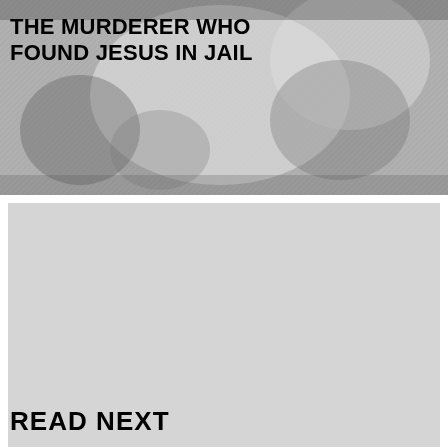[Figure (photo): Black and white halftone photograph of people, partially faded/washed out, used as background image behind the article title]
THE MURDERER WHO FOUND JESUS IN JAIL
[Figure (other): Large light gray advertisement placeholder block]
ADVERTISEMENT
READ NEXT